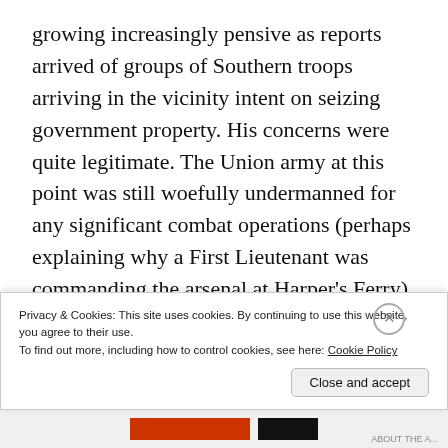growing increasingly pensive as reports arrived of groups of Southern troops arriving in the vicinity intent on seizing government property. His concerns were quite legitimate. The Union army at this point was still woefully undermanned for any significant combat operations (perhaps explaining why a First Lieutenant was commanding the arsenal at Harper's Ferry). Additionally, the historic arsenal was surrounded by high ground: the Maryland Heights to the east, and the Loudon
Privacy & Cookies: This site uses cookies. By continuing to use this website, you agree to their use.
To find out more, including how to control cookies, see here: Cookie Policy
Close and accept